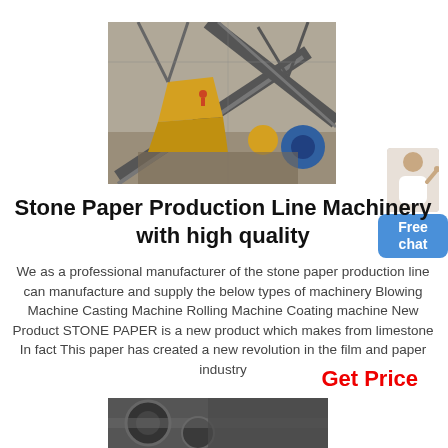[Figure (photo): Aerial view of a stone paper production line machinery with conveyors, yellow equipment, and industrial framework at a factory site]
[Figure (infographic): Free chat widget with a person icon and blue button labeled 'Free chat']
Stone Paper Production Line Machinery with high quality
We as a professional manufacturer of the stone paper production line can manufacture and supply the below types of machinery Blowing Machine Casting Machine Rolling Machine Coating machine New Product STONE PAPER is a new product which makes from limestone In fact This paper has created a new revolution in the film and paper industry
Get Price
[Figure (photo): Partial view of machinery equipment at bottom of page]